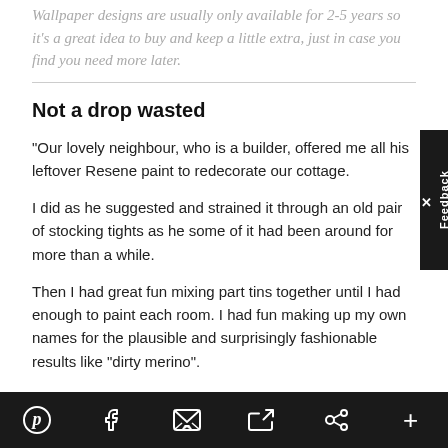Wallpaper designs are usually only available for 2-5 years so it's a great idea to buy and keep a little extra, just in case you find you need more later.
Not a drop wasted
“Our lovely neighbour, who is a builder, offered me all his leftover Resene paint to redecorate our cottage.
I did as he suggested and strained it through an old pair of stocking tights as he some of it had been around for more than a while.
Then I had great fun mixing part tins together until I had enough to paint each room. I had fun making up my own names for the plausible and surprisingly fashionable results like “dirty merino”.
All of it worked out really well except for the
Pinterest | Facebook | Email | Twitter | Link | +